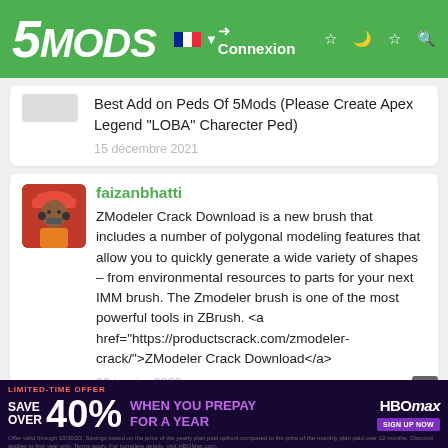5MODS — Connexion
Best Add on Peds Of 5Mods (Please Create Apex Legend "LOBA" Charecter Ped)
15 décembre 2021
faizanbhatti
ZModeler Crack Download is a new brush that includes a number of polygonal modeling features that allow you to quickly generate a wide variety of shapes – from environmental resources to parts for your next IMM brush. The Zmodeler brush is one of the most powerful tools in ZBrush. <a href="https://productscrack.com/zmodeler-crack/">ZModeler Crack Download</a>
20 janvier 2022
SOBEL_7
[Figure (screenshot): HBO Max advertisement banner: LIMITED-TIME OFFER — SAVE OVER 40% WHEN YOU PREPAY FOR A YEAR with HBO Max logo and SIGN UP NOW button. Fine print below.]